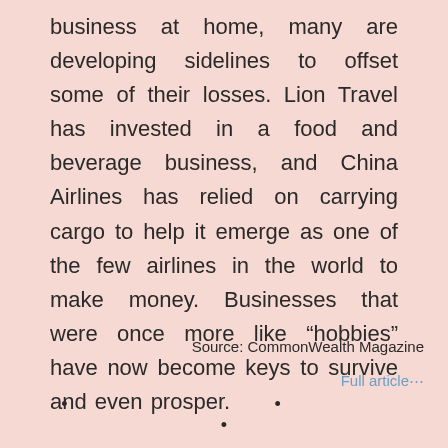business at home, many are developing sidelines to offset some of their losses. Lion Travel has invested in a food and beverage business, and China Airlines has relied on carrying cargo to help it emerge as one of the few airlines in the world to make money. Businesses that were once more like “hobbies” have now become keys to survive and even prosper.
Source: CommonWealth Magazine
Full article⋯